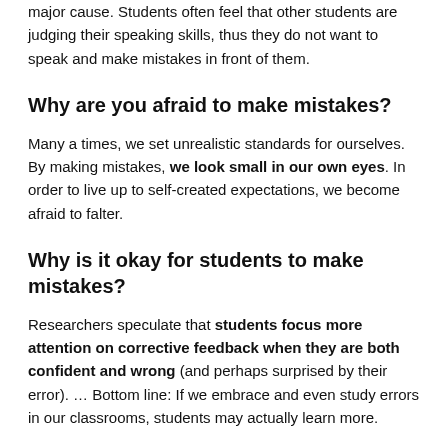major cause. Students often feel that other students are judging their speaking skills, thus they do not want to speak and make mistakes in front of them.
Why are you afraid to make mistakes?
Many a times, we set unrealistic standards for ourselves. By making mistakes, we look small in our own eyes. In order to live up to self-created expectations, we become afraid to falter.
Why is it okay for students to make mistakes?
Researchers speculate that students focus more attention on corrective feedback when they are both confident and wrong (and perhaps surprised by their error). … Bottom line: If we embrace and even study errors in our classrooms, students may actually learn more.
Is it OK to make mistakes at school?